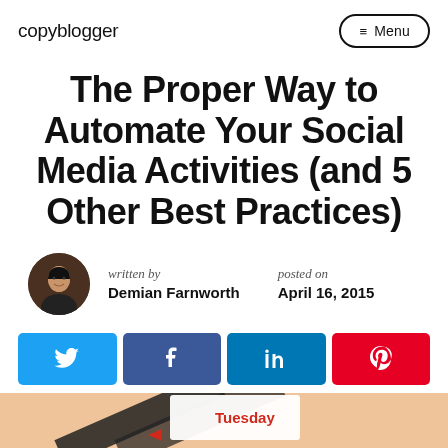copyblogger  ≡ Menu
The Proper Way to Automate Your Social Media Activities (and 5 Other Best Practices)
written by
Demian Farnworth
posted on
April 16, 2015
[Figure (infographic): Social media share buttons: Twitter (blue), Facebook (dark blue), LinkedIn (blue), Pinterest (red), each with their respective icons]
[Figure (photo): Partial view of a calendar/planner image with 'Tuesday' visible, on a warm tan/orange background]